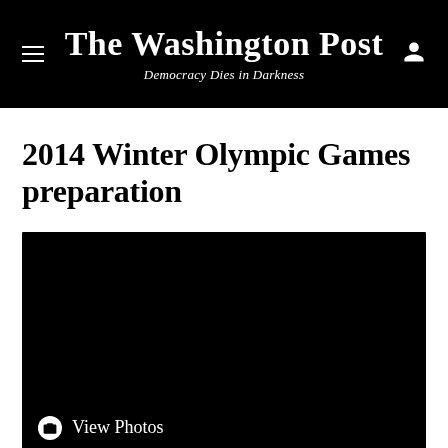The Washington Post — Democracy Dies in Darkness
2014 Winter Olympic Games preparation
[Figure (photo): A large black image (photo not loaded) with a 'View Photos' button overlaid at the bottom left, featuring a camera icon and white text.]